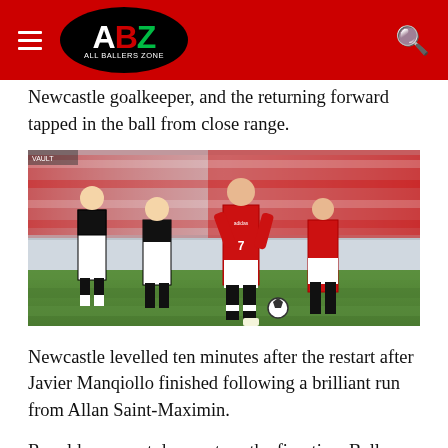ABZ All Ballers Zone
Newcastle goalkeeper, and the returning forward tapped in the ball from close range.
[Figure (photo): Football match action photo showing a player in Manchester United red kit numbered 7 dribbling the ball, with Newcastle United players in black and white stripes in the background, stadium crowd visible]
Newcastle levelled ten minutes after the restart after Javier Manqiollo finished following a brilliant run from Allan Saint-Maximin.
Ronaldo was not done yet, as the five-time Ballon d'Or